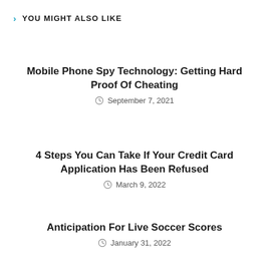YOU MIGHT ALSO LIKE
Mobile Phone Spy Technology: Getting Hard Proof Of Cheating
September 7, 2021
4 Steps You Can Take If Your Credit Card Application Has Been Refused
March 9, 2022
Anticipation For Live Soccer Scores
January 31, 2022